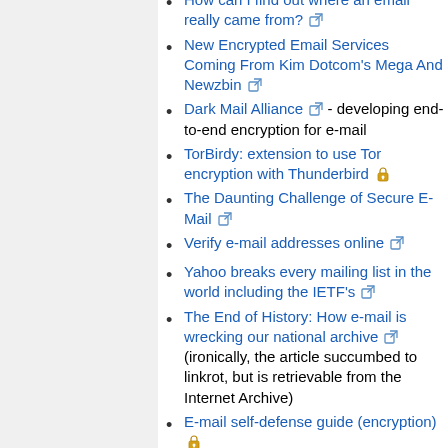How can I find out where an email really came from?
New Encrypted Email Services Coming From Kim Dotcom's Mega And Newzbin
Dark Mail Alliance - developing end-to-end encryption for e-mail
TorBirdy: extension to use Tor encryption with Thunderbird
The Daunting Challenge of Secure E-Mail
Verify e-mail addresses online
Yahoo breaks every mailing list in the world including the IETF's
The End of History: How e-mail is wrecking our national archive (ironically, the article succumbed to linkrot, but is retrievable from the Internet Archive)
E-mail self-defense guide (encryption)
Carcanet Press Email Preservation Project - Phases 2-3
Framework and Functions of the "MS"